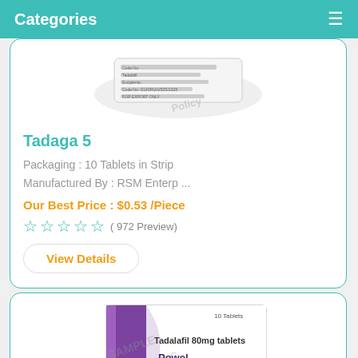Categories
[Figure (photo): Blister pack of Tadaga 5 tablets, showing foil strip with printed label information, partially cropped at top of card]
Tadaga 5
Packaging : 10 Tablets in Strip
Manufactured By : RSM Enterp ...
Our Best Price : $0.53 /Piece
( 972 Preview)
View Details
[Figure (photo): Box of Tadalafil 80mg tablets (purple and white packaging), partially visible at bottom of page, with watermark text overlay]